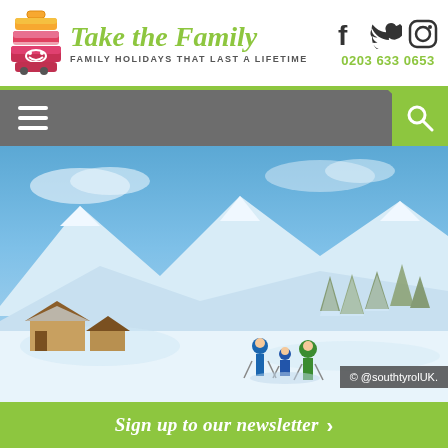Take the Family — FAMILY HOLIDAYS THAT LAST A LIFETIME — 0203 633 0653
[Figure (screenshot): Navigation bar with hamburger menu on left and search icon on green background on right]
[Figure (photo): Winter snow landscape with family walking in snow, mountains and snow-covered trees in background, Alpine cabins visible. Copyright @southtyrolUK.]
© @southtyrolUK.
Sign up to our newsletter >